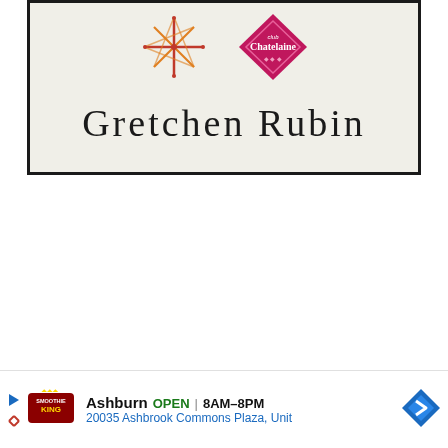[Figure (photo): Photograph of a book cover showing the name 'Gretchen Rubin' in large serif font, with decorative snowflake/asterisk symbols and a pink diamond-shaped Chatelaine Club logo badge in the upper portion of the cover.]
Ashburn OPEN 8AM–8PM 20035 Ashbrook Commons Plaza, Unit